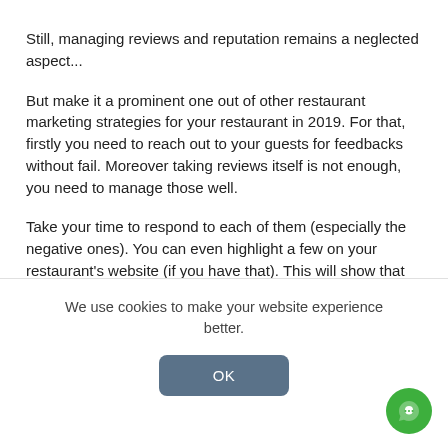Still, managing reviews and reputation remains a neglected aspect...
But make it a prominent one out of other restaurant marketing strategies for your restaurant in 2019. For that, firstly you need to reach out to your guests for feedbacks without fail. Moreover taking reviews itself is not enough, you need to manage those well.
Take your time to respond to each of them (especially the negative ones). You can even highlight a few on your restaurant’s website (if you have that). This will show that you really care about the people giving you reviews.
Besides, seeing these reviews your guests are more likely
We use cookies to make your website experience better.
OK